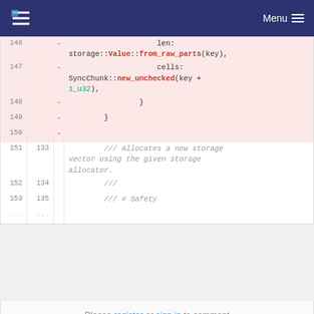Menu
[Figure (screenshot): Code diff viewer showing lines 146-153+ with deleted lines (pink background) and normal lines. Lines 146-150 are deleted showing Rust code with 'from_raw_parts' and 'new_unchecked' highlighted. Lines 151-153 show doc comments '/// Allocates a new storage vector using the given storage allocator.' '///' '/// # Safety']
Please register or sign in to comment